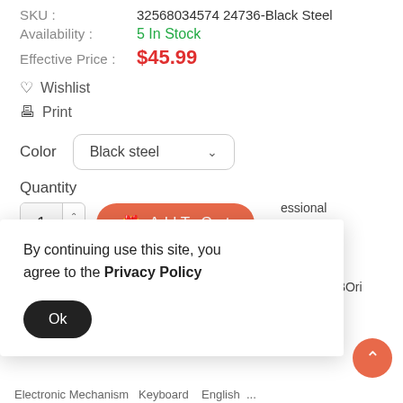Brand : Akirabura Store
SKU : 32568034574 24736-Black Steel
Availability : 5 In Stock
Effective Price : $45.99
♡ Wishlist
🖶 Print
Color  Black steel ∨
Quantity
1  Add To Cart
By continuing use this site, you agree to the Privacy Policy
Ok
essional id OSStyle: ailable: M: <128MBOri Type:
Electronic Mechanism...English...